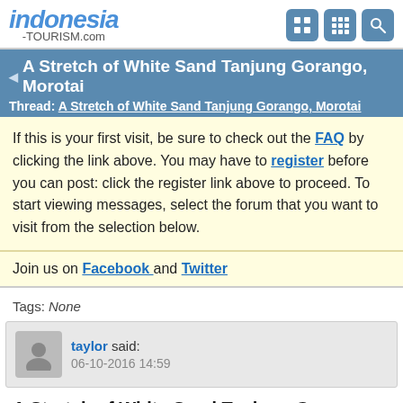indonesia-TOURISM.com
A Stretch of White Sand Tanjung Gorango, Morotai
Thread: A Stretch of White Sand Tanjung Gorango, Morotai
If this is your first visit, be sure to check out the FAQ by clicking the link above. You may have to register before you can post: click the register link above to proceed. To start viewing messages, select the forum that you want to visit from the selection below.
Join us on Facebook and Twitter
Tags: None
taylor said: 06-10-2016 14:59
A Stretch of White Sand Tanjung Gorango, Morotai